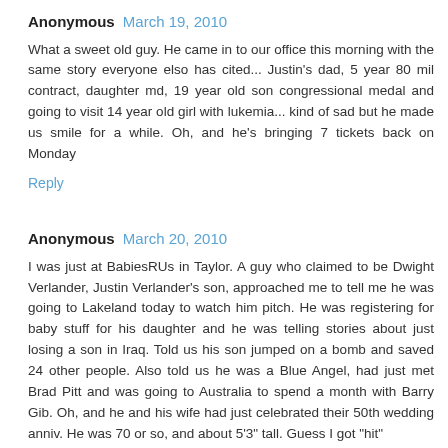Anonymous March 19, 2010
What a sweet old guy. He came in to our office this morning with the same story everyone elso has cited... Justin's dad, 5 year 80 mil contract, daughter md, 19 year old son congressional medal and going to visit 14 year old girl with lukemia... kind of sad but he made us smile for a while. Oh, and he's bringing 7 tickets back on Monday
Reply
Anonymous March 20, 2010
I was just at BabiesRUs in Taylor. A guy who claimed to be Dwight Verlander, Justin Verlander's son, approached me to tell me he was going to Lakeland today to watch him pitch. He was registering for baby stuff for his daughter and he was telling stories about just losing a son in Iraq. Told us his son jumped on a bomb and saved 24 other people. Also told us he was a Blue Angel, had just met Brad Pitt and was going to Australia to spend a month with Barry Gib. Oh, and he and his wife had just celebrated their 50th wedding anniv. He was 70 or so, and about 5'3" tall. Guess I got "hit"